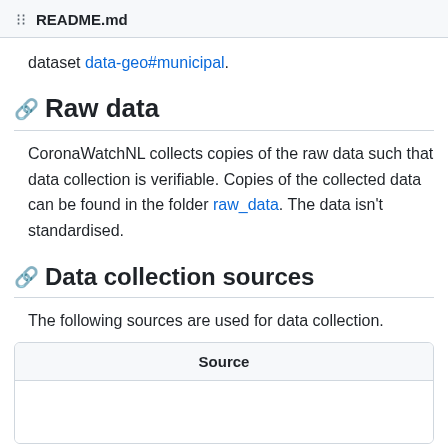README.md
dataset data-geo#municipal.
Raw data
CoronaWatchNL collects copies of the raw data such that data collection is verifiable. Copies of the collected data can be found in the folder raw_data. The data isn't standardised.
Data collection sources
The following sources are used for data collection.
| Source |
| --- |
|  |